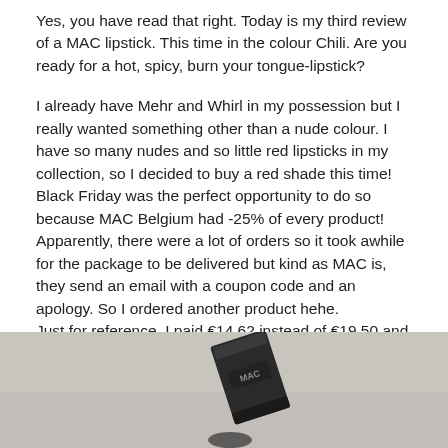Yes, you have read that right. Today is my third review of a MAC lipstick. This time in the colour Chili. Are you ready for a hot, spicy, burn your tongue-lipstick?
I already have Mehr and Whirl in my possession but I really wanted something other than a nude colour. I have so many nudes and so little red lipsticks in my collection, so I decided to buy a red shade this time! Black Friday was the perfect opportunity to do so because MAC Belgium had -25% of every product! Apparently, there were a lot of orders so it took awhile for the package to be delivered but kind as MAC is, they send an email with a coupon code and an apology. So I ordered another product hehe.
Just for reference, I paid €14.62 instead of €19.50 and no delivery costs.
[Figure (photo): Photo of a MAC lipstick box/product on a light gray background, tilted at an angle]